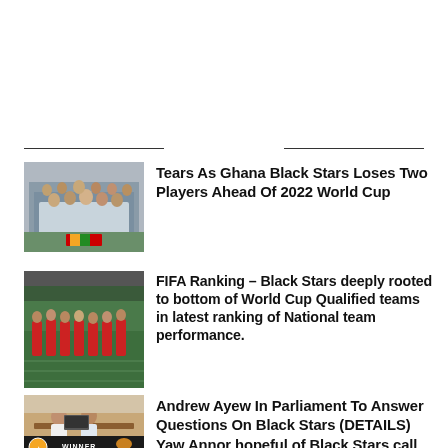[Figure (photo): Ghana Black Stars football team posed for group photo in white jerseys]
Tears As Ghana Black Stars Loses Two Players Ahead Of 2022 World Cup
[Figure (photo): Football players in red uniforms on a green pitch during training]
FIFA Ranking – Black Stars deeply rooted to bottom of World Cup Qualified teams in latest ranking of National team performance.
[Figure (photo): Person seated at a desk in a meeting room]
Andrew Ayew In Parliament To Answer Questions On Black Stars (DETAILS)
[Figure (photo): Winner badge/logo graphic]
Yaw Annor hopeful of Black Stars call up